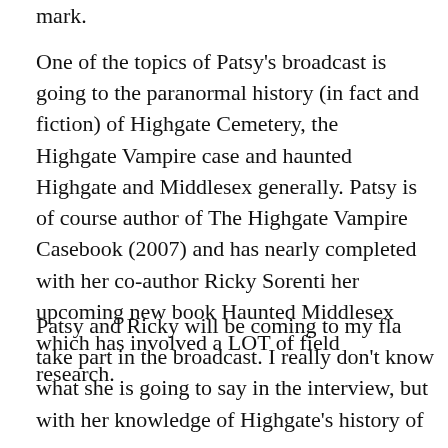mark.
One of the topics of Patsy's broadcast is going to the paranormal history (in fact and fiction) of Highgate Cemetery, the Highgate Vampire case and haunted Highgate and Middlesex generally. Patsy is of course author of The Highgate Vampire Casebook (2007) and has nearly completed with her co-author Ricky Sorenti her upcoming new book Haunted Middlesex which has involved a LOT of field research.
Patsy and Ricky will be coming to my fla[t to] take part in the broadcast. I really don't know what she is going to say in the interview, but with her knowledge of Highgate's history of